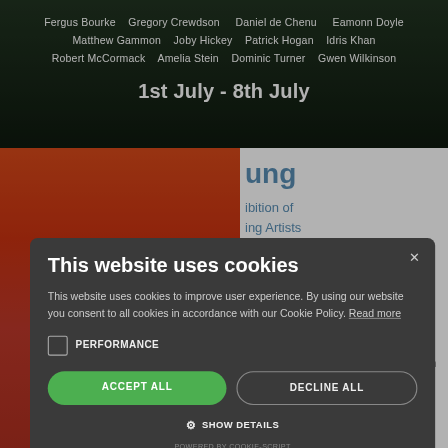[Figure (screenshot): Top banner of an art exhibition website with dark forest/nature background. White text listing artist names: Fergus Bourke, Gregory Crewdson, Daniel de Chenu, Eamonn Doyle, Matthew Gammon, Joby Hickey, Patrick Hogan, Idris Khan, Robert McCormack, Amelia Stein, Dominic Turner, Gwen Wilkinson. Date: 1st July - 8th July.]
[Figure (screenshot): Partially visible website page behind cookie consent modal. Left side shows colorful red/orange artwork image strip. Right side shows partial text in blue: 'ung', 'ibition of', 'ing Artists', '- June 12', 'ra Rae', 'xhibition', '- April 19', 'Opening Thursday March 6, 6pm - 8pm']
This website uses cookies
This website uses cookies to improve user experience. By using our website you consent to all cookies in accordance with our Cookie Policy. Read more
PERFORMANCE
ACCEPT ALL
DECLINE ALL
SHOW DETAILS
POWERED BY COOKIE-SCRIPT